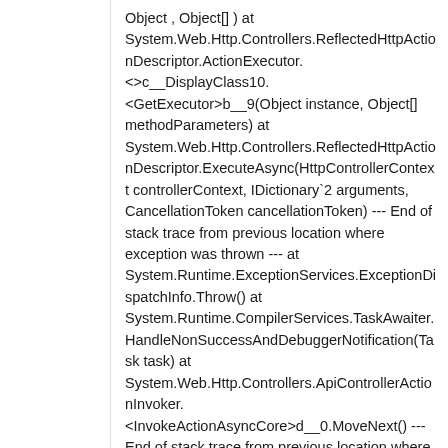Object , Object[] ) at System.Web.Http.Controllers.ReflectedHttpActionDescriptor.ActionExecutor.<>c__DisplayClass10.<GetExecutor>b__9(Object instance, Object[] methodParameters) at System.Web.Http.Controllers.ReflectedHttpActionDescriptor.ExecuteAsync(HttpControllerContext controllerContext, IDictionary`2 arguments, CancellationToken cancellationToken) --- End of stack trace from previous location where exception was thrown --- at System.Runtime.ExceptionServices.ExceptionDispatchInfo.Throw() at System.Runtime.CompilerServices.TaskAwaiter.HandleNonSuccessAndDebuggerNotification(Task task) at System.Web.Http.Controllers.ApiControllerActionInvoker.<InvokeActionAsyncCore>d__0.MoveNext() --- End of stack trace from previous location where exception was thrown --- at System.Runtime.ExceptionServices.ExceptionDispatchIn